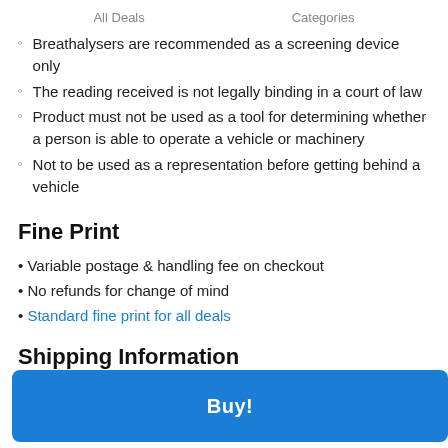All Deals    Categories
Breathalysers are recommended as a screening device only
The reading received is not legally binding in a court of law
Product must not be used as a tool for determining whether a person is able to operate a vehicle or machinery
Not to be used as a representation before getting behind a vehicle
Fine Print
Variable postage & handling fee on checkout
No refunds for change of mind
Standard fine print for all deals
Shipping Information